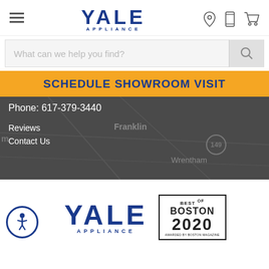[Figure (screenshot): Yale Appliance website screenshot showing navigation bar with hamburger menu, Yale Appliance logo, location pin icon, phone icon, and cart icon]
[Figure (screenshot): Search bar with placeholder text 'What can we help you find?' and search button]
SCHEDULE SHOWROOM VISIT
Phone: 617-379-3440
Reviews
Contact Us
[Figure (map): Dark map showing Franklin and Wrentham area with route 140 marked]
[Figure (logo): Yale Appliance logo at bottom of page]
[Figure (logo): Best of Boston 2020 badge awarded by Boston Magazine]